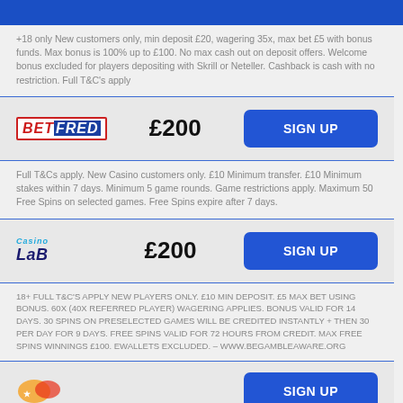+18 only New customers only, min deposit £20, wagering 35x, max bet £5 with bonus funds. Max bonus is 100% up to £100. No max cash out on deposit offers. Welcome bonus excluded for players depositing with Skrill or Neteller. Cashback is cash with no restriction. Full T&C's apply
[Figure (logo): Betfred logo - red and white text on dark blue background]
£200
SIGN UP
Full T&Cs apply. New Casino customers only. £10 Minimum transfer. £10 Minimum stakes within 7 days. Minimum 5 game rounds. Game restrictions apply. Maximum 50 Free Spins on selected games. Free Spins expire after 7 days.
[Figure (logo): Casino Lab logo - stylized text in blue and dark blue]
£200
SIGN UP
18+ FULL T&C'S APPLY NEW PLAYERS ONLY. £10 MIN DEPOSIT. £5 MAX BET USING BONUS. 60X (40X REFERRED PLAYER) WAGERING APPLIES. BONUS VALID FOR 14 DAYS. 30 SPINS ON PRESELECTED GAMES WILL BE CREDITED INSTANTLY + THEN 30 PER DAY FOR 9 DAYS. FREE SPINS VALID FOR 72 HOURS FROM CREDIT. MAX FREE SPINS WINNINGS £100. EWALLETS EXCLUDED. – WWW.BEGAMBLEAWARE.ORG